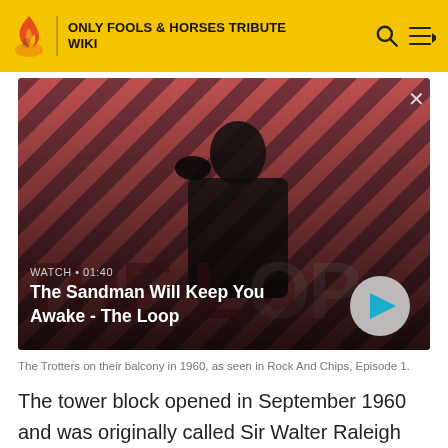ONLY FOOLS & HORSES TRIBUTE WIKI
[Figure (screenshot): Video thumbnail showing a dark-haired figure in black with a raven on their shoulder against a diagonal red and dark striped background. Overlay text reads WATCH • 01:40 and title The Sandman Will Keep You Awake - The Loop. A play button is visible on the right.]
The Trotters on their balcony in 1960, as seen in Rock And Chips, Episode 1.
The tower block opened in September 1960 and was originally called Sir Walter Raleigh House. As Joan Mavis